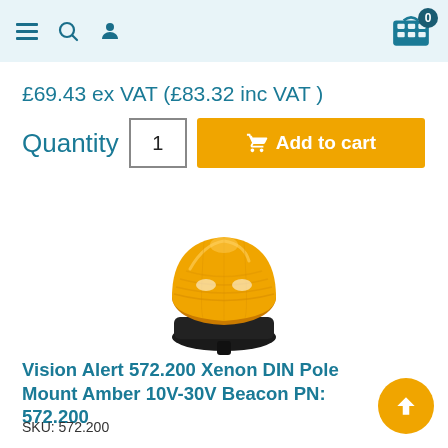Navigation header with menu, search, user icons and cart (0 items)
£69.43 ex VAT (£83.32 inc VAT )
Quantity  1  Add to cart
[Figure (photo): Amber/orange xenon beacon with black base on a white background]
Vision Alert 572.200 Xenon DIN Pole Mount Amber 10V-30V Beacon PN: 572.200
SKU: 572.200
Compact xenon beacon featuring aerodynamic low profile styling